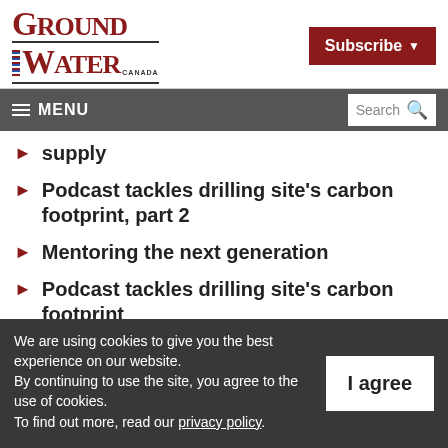[Figure (logo): Ground Water Canada magazine logo with stylized text and stripe element]
[Figure (other): Subscribe button with dropdown arrow, dark red background]
≡ MENU  Search
supply
Podcast tackles drilling site's carbon footprint, part 2
Mentoring the next generation
Podcast tackles drilling site's carbon footprint
We are using cookies to give you the best experience on our website. By continuing to use the site, you agree to the use of cookies. To find out more, read our privacy policy.